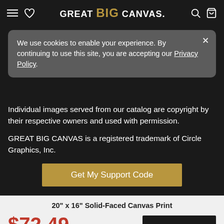GREAT BIG CANVAS.
We use cookies to enable your experience. By continuing to use this site, you are accepting our Privacy Policy.
Copyright © 2002-2022 by Circle Graphics, Inc. Use of this website and/or purchase of products from this website are subject to our Privacy Policy and Cookie Policy.
Individual images served from our catalog are copyright by their respective owners and used with permission.
GREAT BIG CANVAS is a registered trademark of Circle Graphics, Inc.
Get My Support Code
20" x 16" Solid-Faced Canvas Print
$72.49  $144.99  50% OFF - Ends Soon!
Add To Cart